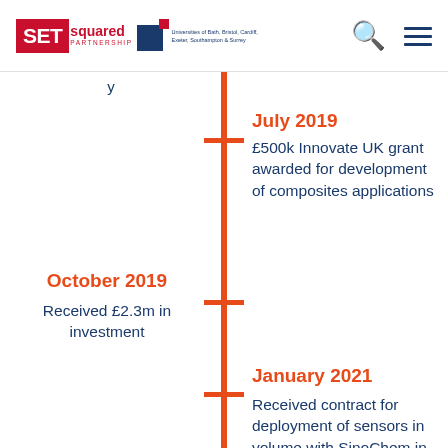[Figure (logo): SETsquared Partnership logo with universities of Bath, Bristol, Cardiff, Exeter, Southampton & Surrey]
[Figure (infographic): Vertical orange timeline with three milestone entries: July 2019 (£500k Innovate UK grant for composites), October 2019 (£2.3m investment), January 2021 (contract for sensors deployment with SinoChem)]
July 2019
£500k Innovate UK grant awarded for development of composites applications
October 2019
Received £2.3m in investment
January 2021
Received contract for deployment of sensors in volume with SinoChem in